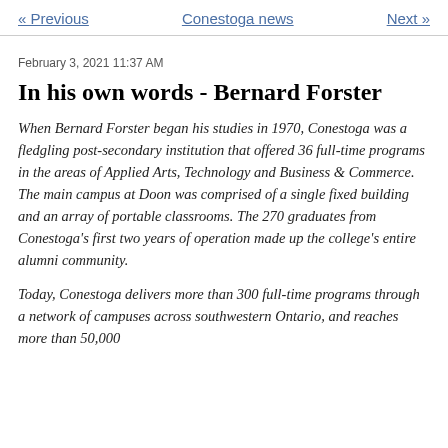« Previous   Conestoga news   Next »
February 3, 2021 11:37 AM
In his own words - Bernard Forster
When Bernard Forster began his studies in 1970, Conestoga was a fledgling post-secondary institution that offered 36 full-time programs in the areas of Applied Arts, Technology and Business & Commerce. The main campus at Doon was comprised of a single fixed building and an array of portable classrooms. The 270 graduates from Conestoga's first two years of operation made up the college's entire alumni community.
Today, Conestoga delivers more than 300 full-time programs through a network of campuses across southwestern Ontario, and reaches more than 50,000